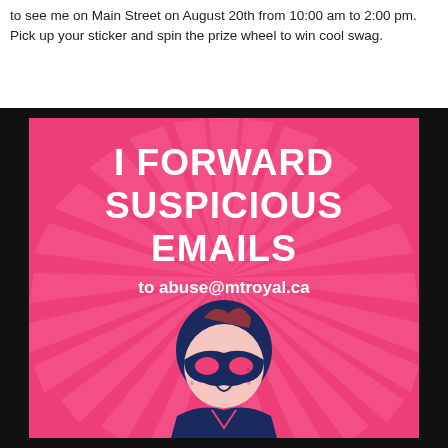to see me on Main Street on August 20th from 10:00 am to 2:00 pm.  Pick up your sticker and spin the prize wheel to win cool swag.
[Figure (illustration): Promotional poster with pink/magenta background and radial rays. Text reads 'I FORWARD SUSPICIOUS EMAILS to abuse@mtroyal.ca'. Below the text is a dark navy blue comic-style illustration of a masked superhero figure (man with domino mask and suit).]